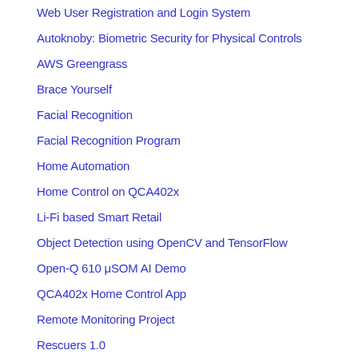Web User Registration and Login System
Autoknoby: Biometric Security for Physical Controls
AWS Greengrass
Brace Yourself
Facial Recognition
Facial Recognition Program
Home Automation
Home Control on QCA402x
Li-Fi based Smart Retail
Object Detection using OpenCV and TensorFlow
Open-Q 610 μSOM AI Demo
QCA402x Home Control App
Remote Monitoring Project
Rescuers 1.0
Robot Arm
Smart Doorbell Solutions
Smart Home Robot
Smart Light